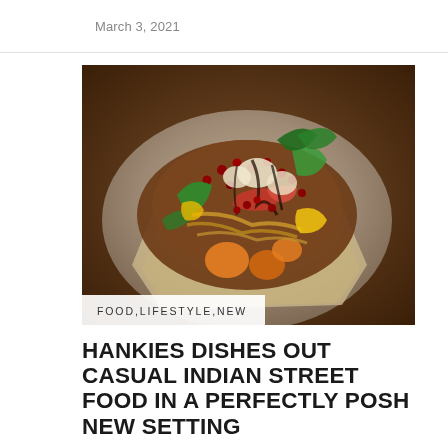March 3, 2021
[Figure (photo): Close-up photo of an Indian street food dish — a colorful mix of fried vegetables, pomegranate seeds, bell peppers, cauliflower, and sauce served in a crispy shell]
FOOD,LIFESTYLE,NEW
HANKIES DISHES OUT CASUAL INDIAN STREET FOOD IN A PERFECTLY POSH NEW SETTING